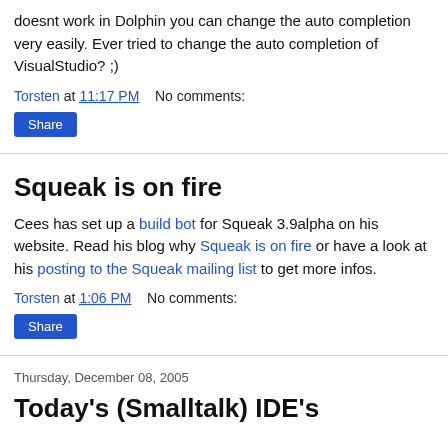doesnt work in Dolphin you can change the auto completion very easily. Ever tried to change the auto completion of VisualStudio? ;)
Torsten at 11:17 PM    No comments:
Share
Squeak is on fire
Cees has set up a build bot for Squeak 3.9alpha on his website. Read his blog why Squeak is on fire or have a look at his posting to the Squeak mailing list to get more infos.
Torsten at 1:06 PM    No comments:
Share
Thursday, December 08, 2005
Today's (Smalltalk) IDE's